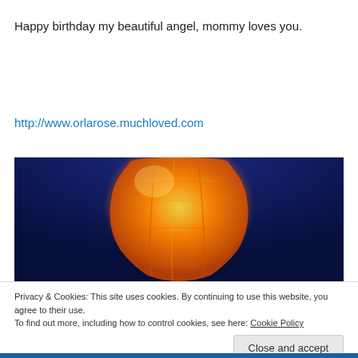Happy birthday my beautiful angel, mommy loves you.
http://www.orlarose.muchloved.com
[Figure (photo): An orange sky lantern floating against a deep dark blue night sky, photographed close up showing the glowing orange fabric of the lantern.]
Privacy & Cookies: This site uses cookies. By continuing to use this website, you agree to their use.
To find out more, including how to control cookies, see here: Cookie Policy
Close and accept